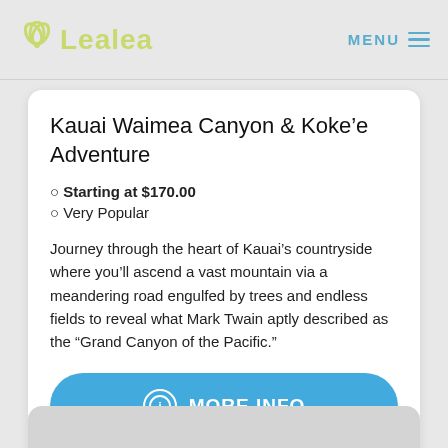LeaLea — MENU
Kauai Waimea Canyon & Koke'e Adventure
⊙ Starting at $170.00
⊙ Very Popular
Journey through the heart of Kauai's countryside where you'll ascend a vast mountain via a meandering road engulfed by trees and endless fields to reveal what Mark Twain aptly described as the "Grand Canyon of the Pacific."
MORE INFO